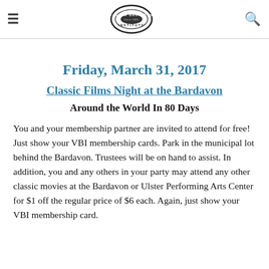Vassar Brothers Institute (logo)
Friday, March 31, 2017
Classic Films Night at the Bardavon
Around the World In 80 Days
You and your membership partner are invited to attend for free! Just show your VBI membership cards. Park in the municipal lot behind the Bardavon. Trustees will be on hand to assist. In addition, you and any others in your party may attend any other classic movies at the Bardavon or Ulster Performing Arts Center for $1 off the regular price of $6 each. Again, just show your VBI membership card.